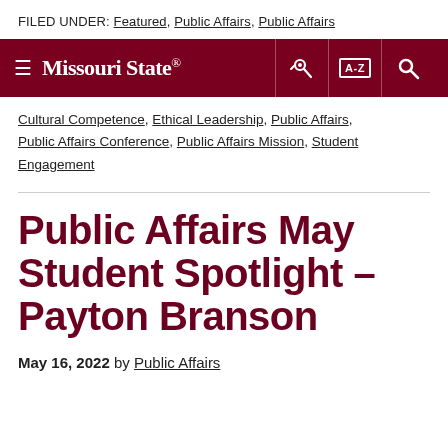FILED UNDER: Featured, Public Affairs, Public Affairs
[Figure (logo): Missouri State University navigation bar with hamburger menu, logo, key icon, A-Z index icon, and search icon on dark red background]
Cultural Competence, Ethical Leadership, Public Affairs, Public Affairs Conference, Public Affairs Mission, Student Engagement
Public Affairs May Student Spotlight – Payton Branson
May 16, 2022 by Public Affairs